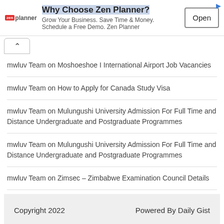[Figure (screenshot): Zen Planner advertisement banner with logo, headline 'Why Choose Zen Planner?', subtext 'Grow Your Business. Save Time & Money. Schedule a Free Demo. Zen Planner', and an 'Open' button.]
mwluv Team on Moshoeshoe I International Airport Job Vacancies
mwluv Team on How to Apply for Canada Study Visa
mwluv Team on Mulungushi University Admission For Full Time and Distance Undergraduate and Postgraduate Programmes
mwluv Team on Mulungushi University Admission For Full Time and Distance Undergraduate and Postgraduate Programmes
mwluv Team on Zimsec – Zimbabwe Examination Council Details
Copyright 2022    Powered By Daily Gist